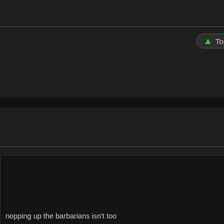[Figure (screenshot): Game UI screenshot showing dark-themed interface panel on left with text content about barbarians and religion, an anchor icon button, a 'Top' navigation button with green arrow, and a parchment-textured panel on the right side.]
nopping up the barbarians isn't too so you could simply play on higher g about using religion to speed this
ugh (forest wall to the Barbarians, back a bit, Some buildings near the
ally delayed the return messages of
test the next days
e step further